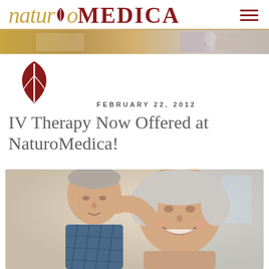naturoMEDICA
[Figure (photo): Medical/lab background banner strip image]
[Figure (logo): NaturoMedica leaf logo icon in dark red]
FEBRUARY 22, 2012
IV Therapy Now Offered at NaturoMedica!
[Figure (photo): Elderly couple smiling together, man leaning toward woman who is smiling broadly]